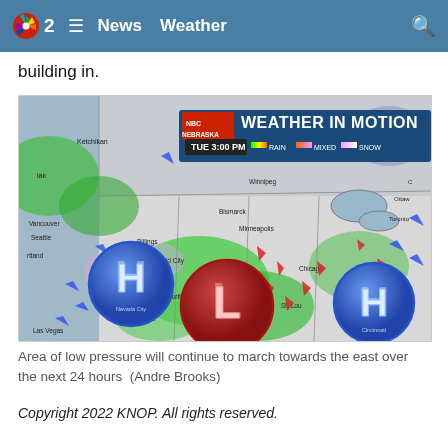NBC 2  ≡  News  Weather  🔍
building in.
[Figure (map): NBC Nebraska Weather in Motion map showing a weather system over the central United States. The map displays a low pressure system (L) over Kansas/Colorado border area, two high pressure systems (H) over northern California/Nevada and the Cincinnati area, with rain, mixed precipitation, and snow indicators. Wind direction arrows shown in blue and red. Timestamp: TUE 3:00 PM. Cities labeled include Ketchikan, Vancouver, Seattle, Portland, Billings, Bismarck, Rapid City, Scottsbluff, North Platte, Denver, Omaha, Wichita, Las Vegas, Minneapolis, Chicago, St. Louis, Ottawa, Toronto, Memphis, Winnipeg, Cincinnati.]
Area of low pressure will continue to march towards the east over the next 24 hours  (Andre Brooks)
Copyright 2022 KNOP. All rights reserved.